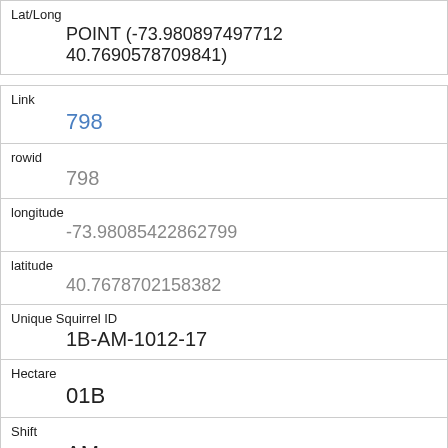| Field | Value |
| --- | --- |
| Lat/Long | POINT (-73.980897497712 40.7690578709841) |
| Link | 798 |
| rowid | 798 |
| longitude | -73.98085422862799 |
| latitude | 40.7678702158382 |
| Unique Squirrel ID | 1B-AM-1012-17 |
| Hectare | 01B |
| Shift | AM |
| Date | 10122018 |
| Hectare Squirrel Number |  |